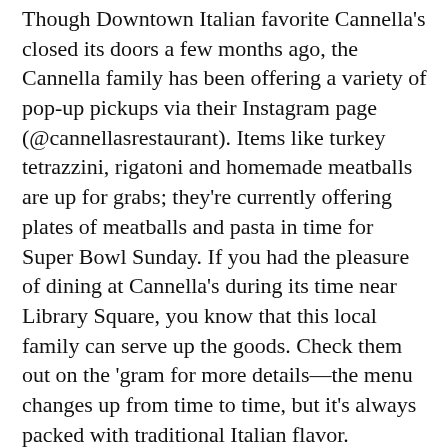Though Downtown Italian favorite Cannella's closed its doors a few months ago, the Cannella family has been offering a variety of pop-up pickups via their Instagram page (@cannellasrestaurant). Items like turkey tetrazzini, rigatoni and homemade meatballs are up for grabs; they're currently offering plates of meatballs and pasta in time for Super Bowl Sunday. If you had the pleasure of dining at Cannella's during its time near Library Square, you know that this local family can serve up the goods. Check them out on the 'gram for more details—the menu changes up from time to time, but it's always packed with traditional Italian flavor.
La Hacienda Expands
La Hacienda recently opened its fourth location in South Jordan (11718 S. 3600 West, 801-559-7374).